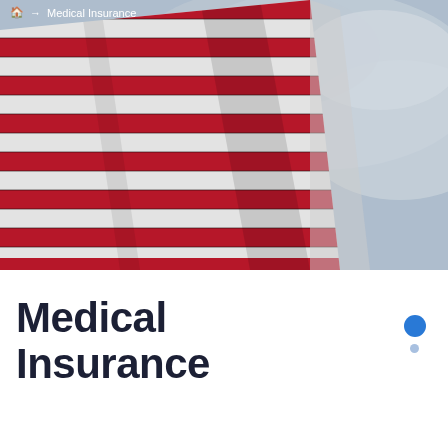🏠 → Medical Insurance
[Figure (photo): Close-up photograph of an American flag with red and white stripes waving against a cloudy sky background]
Medical Insurance